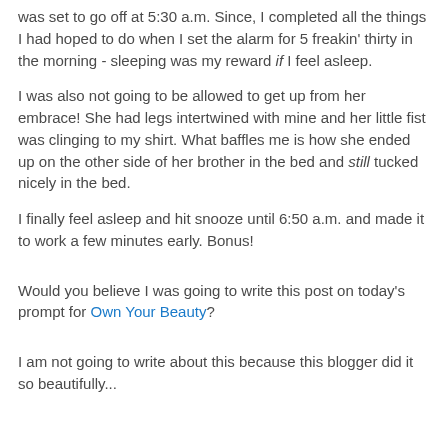was set to go off at 5:30 a.m.  Since, I completed all the things I had hoped to do when I set the alarm for 5 freakin' thirty in the morning - sleeping was my reward if I feel asleep.
I was also not going to be allowed to get up from her embrace!  She had legs intertwined with mine and her little fist was clinging to my shirt.  What baffles me is how she ended up on the other side of her brother in the bed and still tucked nicely in the bed.
I finally feel asleep and hit snooze until 6:50 a.m. and made it to work a few minutes early.  Bonus!
Would you believe I was going to write this post on today's prompt for Own Your Beauty?
I am not going to write about this because this blogger did it so beautifully...